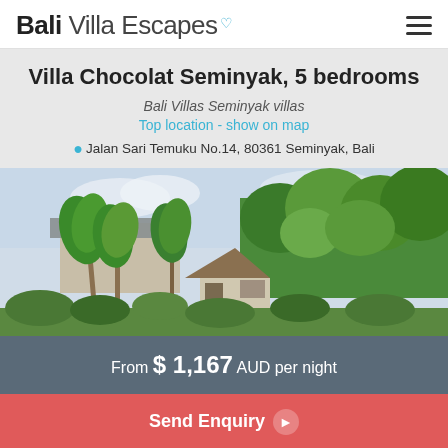Bali Villa Escapes
Villa Chocolat Seminyak, 5 bedrooms
Bali Villas Seminyak villas
Top location - show on map
Jalan Sari Temuku No.14, 80361 Seminyak, Bali
[Figure (photo): Exterior photo of Villa Chocolat Seminyak showing tropical garden with palm trees and green foliage surrounding a building with a thatched roof structure]
From $ 1,167 AUD per night
Send Enquiry